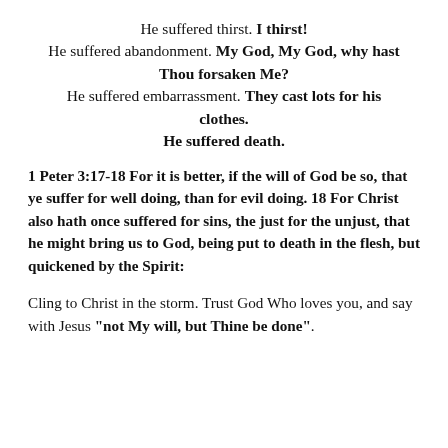He suffered thirst. I thirst! He suffered abandonment. My God, My God, why hast Thou forsaken Me? He suffered embarrassment. They cast lots for his clothes. He suffered death.
1 Peter 3:17-18 For it is better, if the will of God be so, that ye suffer for well doing, than for evil doing. 18 For Christ also hath once suffered for sins, the just for the unjust, that he might bring us to God, being put to death in the flesh, but quickened by the Spirit:
Cling to Christ in the storm. Trust God Who loves you, and say with Jesus "not My will, but Thine be done".